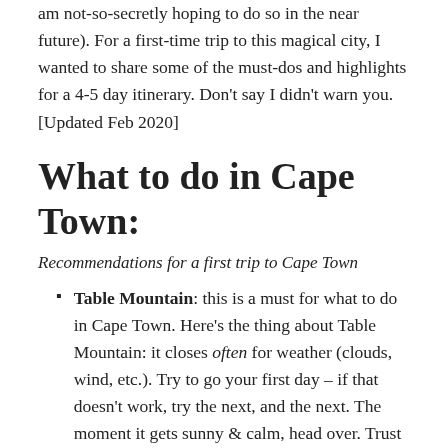am not-so-secretly hoping to do so in the near future). For a first-time trip to this magical city, I wanted to share some of the must-dos and highlights for a 4-5 day itinerary. Don't say I didn't warn you. [Updated Feb 2020]
What to do in Cape Town:
Recommendations for a first trip to Cape Town
Table Mountain: this is a must for what to do in Cape Town. Here's the thing about Table Mountain: it closes often for weather (clouds, wind, etc.). Try to go your first day – if that doesn't work, try the next, and the next. The moment it gets sunny & calm, head over. Trust me, you don't want to be the person who